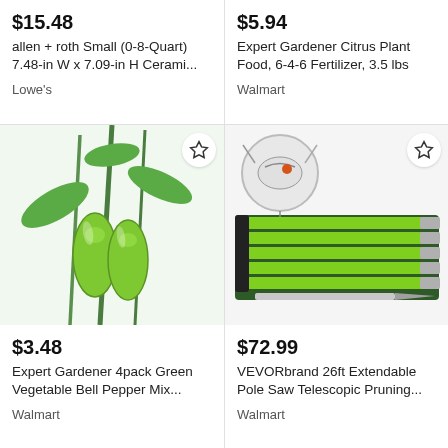$15.48
allen + roth Small (0-8-Quart) 7.48-in W x 7.09-in H Cerami...
Lowe's
$5.94
Expert Gardener Citrus Plant Food, 6-4-6 Fertilizer, 3.5 lbs
Walmart
[Figure (photo): Green bell peppers growing on a plant with green stems and leaves, close-up photo on white background]
$3.48
Expert Gardener 4pack Green Vegetable Bell Pepper Mix...
Walmart
[Figure (photo): VEVORbrand 26ft extendable pole saw telescopic pruning tool - green poles laid flat on a dark green canvas roll, with close-up inset of the pruner head]
$72.99
VEVORbrand 26ft Extendable Pole Saw Telescopic Pruning...
Walmart